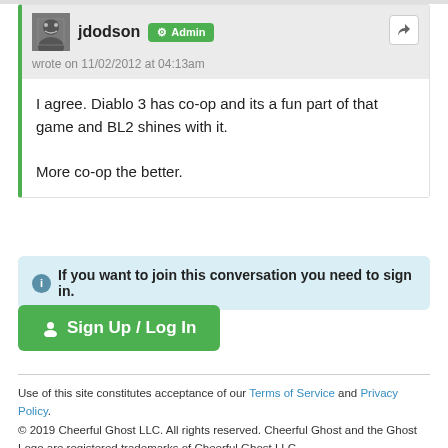jdodson Admin wrote on 11/02/2012 at 04:13am
I agree. Diablo 3 has co-op and its a fun part of that game and BL2 shines with it.

More co-op the better.
If you want to join this conversation you need to sign in.
Sign Up / Log In
Use of this site constitutes acceptance of our Terms of Service and Privacy Policy. © 2019 Cheerful Ghost LLC. All rights reserved. Cheerful Ghost and the Ghost Logo are registered trademarks of Cheerful Ghost LLC. Cheerful Ghost is part of the Video Game Webring!